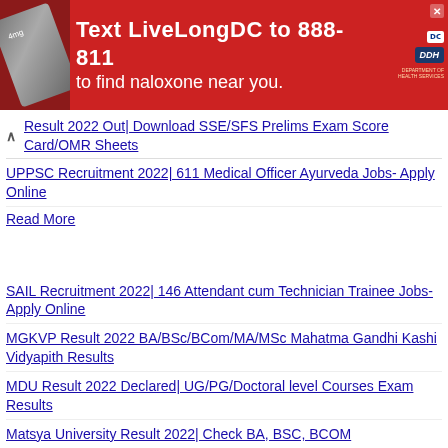[Figure (infographic): Red advertisement banner: 'Text LiveLongDC to 888-811 to find naloxone near you.' with DC Health and DDH logos, and a close button.]
Result 2022 Out| Download SSE/SFS Prelims Exam Score Card/OMR Sheets
UPPSC Recruitment 2022| 611 Medical Officer Ayurveda Jobs- Apply Online
Read More
SAIL Recruitment 2022| 146 Attendant cum Technician Trainee Jobs- Apply Online
MGKVP Result 2022 BA/BSc/BCom/MA/MSc Mahatma Gandhi Kashi Vidyapith Results
MDU Result 2022 Declared| UG/PG/Doctoral level Courses Exam Results
Matsya University Result 2022| Check BA, BSC, BCOM